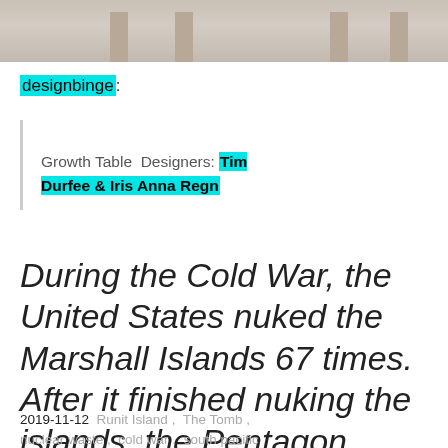[Figure (photo): Partial photo of furniture legs or table, cropped at top of page]
designbinge:
Growth Table  Designers: Tim Durfee & Iris Anna Regn
During the Cold War, the United States nuked the Marshall Islands 67 times. After it finished nuking the islands, the Pentagon...
2019-11-12  Runit Island ,  The Tomb ,
nuclear waste ,  cold war ,  south pacific